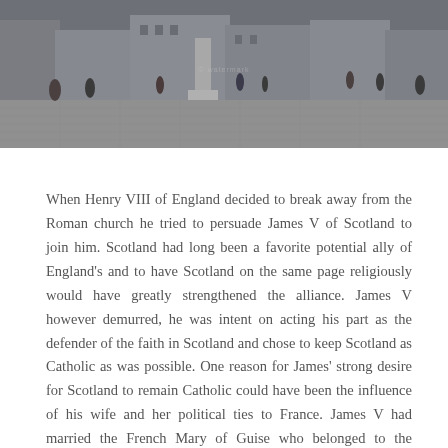[Figure (photo): Outdoor photograph of a public square or plaza with cobblestone pavement. People are walking around a stone monument or fountain structure. Buildings are visible in the background under an overcast sky.]
When Henry VIII of England decided to break away from the Roman church he tried to persuade James V of Scotland to join him. Scotland had long been a favorite potential ally of England's and to have Scotland on the same page religiously would have greatly strengthened the alliance. James V however demurred, he was intent on acting his part as the defender of the faith in Scotland and chose to keep Scotland as Catholic as was possible. One reason for James' strong desire for Scotland to remain Catholic could have been the influence of his wife and her political ties to France. James V had married the French Mary of Guise who belonged to the politically powerful and religiously